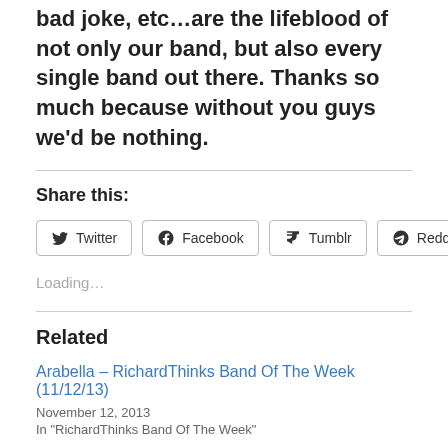bad joke, etc…are the lifeblood of not only our band, but also every single band out there. Thanks so much because without you guys we'd be nothing.
Share this:
Twitter Facebook Tumblr Reddit
Loading…
Related
Arabella – RichardThinks Band Of The Week (11/12/13)
November 12, 2013
In "RichardThinks Band Of The Week"